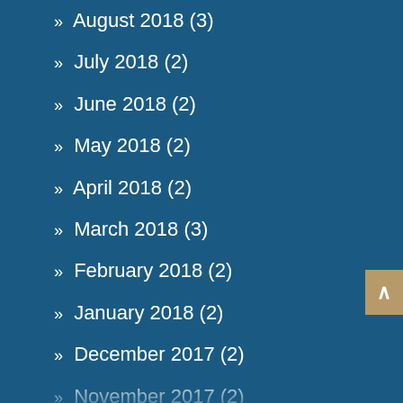» August 2018 (3)
» July 2018 (2)
» June 2018 (2)
» May 2018 (2)
» April 2018 (2)
» March 2018 (3)
» February 2018 (2)
» January 2018 (2)
» December 2017 (2)
» November 2017 (2)
» October 2017 (2)
» September 2017 (2)
» August 2017 (3)